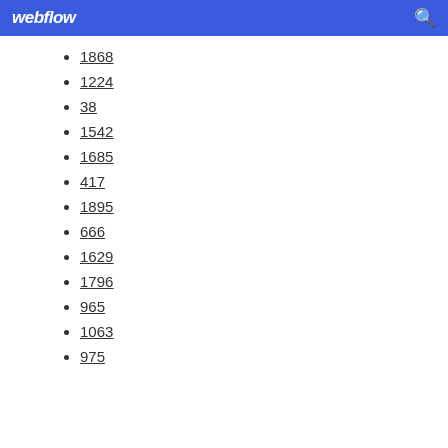webflow
1868
1224
38
1542
1685
417
1895
666
1629
1796
965
1063
975